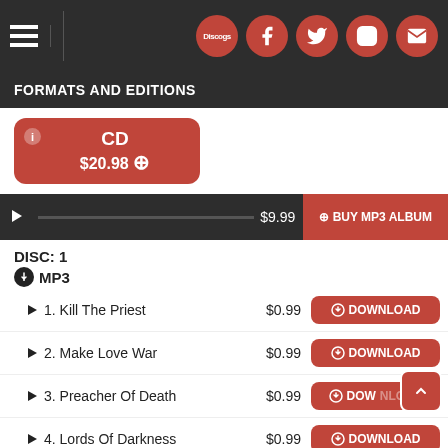Navigation bar with hamburger menu and social icons (Discogs, Facebook, Twitter, Instagram, Email)
FORMATS AND EDITIONS
CD $20.98
$9.99  BUY MP3 ALBUM
DISC: 1
MP3
1. Kill The Priest  $0.99  DOWNLOAD
2. Make Love War  $0.99  DOWNLOAD
3. Preacher Of Death  $0.99  DOWNLOAD
4. Lords Of Darkness  $0.99  DOWNLOAD